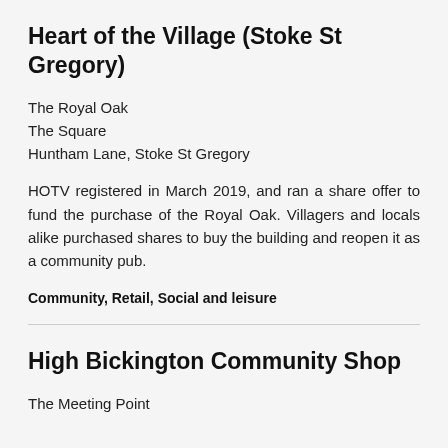Heart of the Village (Stoke St Gregory)
The Royal Oak
The Square
Huntham Lane, Stoke St Gregory
HOTV registered in March 2019, and ran a share offer to fund the purchase of the Royal Oak. Villagers and locals alike purchased shares to buy the building and reopen it as a community pub.
Community, Retail, Social and leisure
High Bickington Community Shop
The Meeting Point